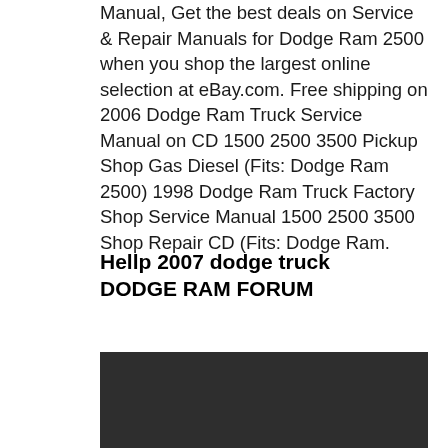Manual, Get the best deals on Service & Repair Manuals for Dodge Ram 2500 when you shop the largest online selection at eBay.com. Free shipping on 2006 Dodge Ram Truck Service Manual on CD 1500 2500 3500 Pickup Shop Gas Diesel (Fits: Dodge Ram 2500) 1998 Dodge Ram Truck Factory Shop Service Manual 1500 2500 3500 Shop Repair CD (Fits: Dodge Ram.
Hellp 2007 dodge truck DODGE RAM FORUM
[Figure (photo): Dark/black image area, appears to be a photo or screenshot with very dark background]